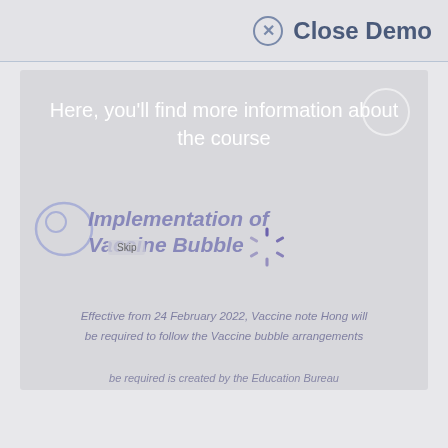✕ Close Demo
Here, you'll find more information about the course
[Figure (screenshot): Demo interface screenshot showing a loading screen for 'Implementation of Vaccine Bubble' course with a spinner, Skip button, and course subtitle text about effective date 24 February 2022]
Effective from 24 February 2022, Vaccine note Hong will be required to follow the Vaccine bubble arrangements
be required to follow the Vaccine bubble arrangements
be required is created by the Education Bureau